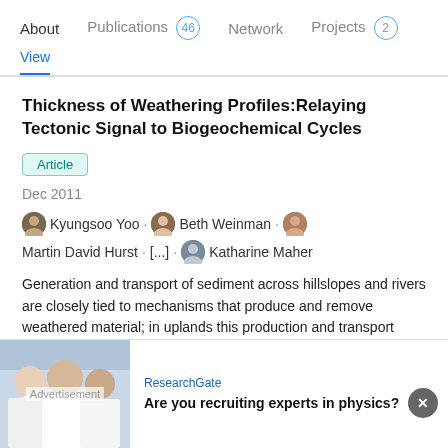About  Publications 46  Network  Projects 2
View
Thickness of Weathering Profiles:Relaying Tectonic Signal to Biogeochemical Cycles
Article
Dec 2011
Kyungsoo Yoo · Beth Weinman · Martin David Hurst · [...] · Katharine Maher
Generation and transport of sediment across hillslopes and rivers are closely tied to mechanisms that produce and remove weathered material; in uplands this production and transport controls the thicknesses of weathering profiles. These processes, by controlling the residence time of minerals in the
[Figure (other): Advertisement banner: ResearchGate ad with photo of researchers. Text: 'Are you recruiting experts in physics?']